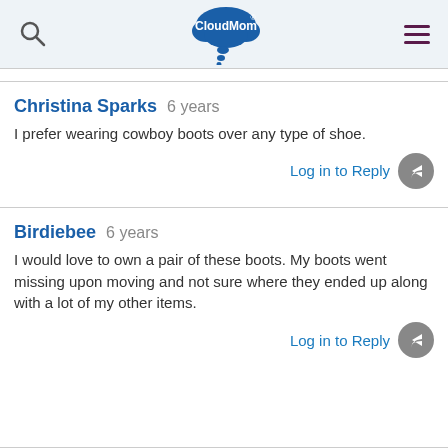CloudMom
Christina Sparks  6 years
I prefer wearing cowboy boots over any type of shoe.
Birdiebee  6 years
I would love to own a pair of these boots. My boots went missing upon moving and not sure where they ended up along with a lot of my other items.